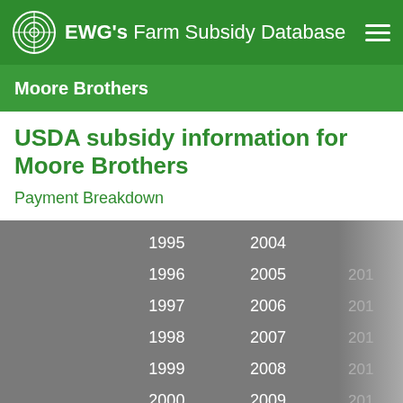EWG's Farm Subsidy Database
Moore Brothers
USDA subsidy information for Moore Brothers
Payment Breakdown
| Subsidy Program | 1995 | 1996 | 1997 | 1998 | 1999 | 2000 | 2001 | 2002 | 2003 | 2004 | 2005 | 2006 | 2007 | 2008 | 2009 | 2010 | 2011 | 2012 |
| --- | --- | --- | --- | --- | --- | --- | --- | --- | --- | --- | --- | --- | --- | --- | --- | --- | --- | --- |